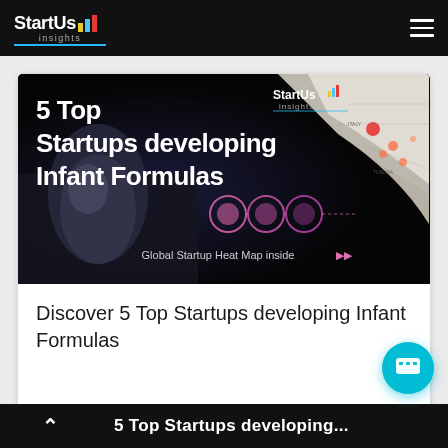StartUs insights
[Figure (illustration): Promotional banner image for '5 Top Startups developing Infant Formulas' showing a mother holding a baby on the left, a dark tech-themed background with pink circular icons, a page-curl revealing a global startup heat map, and the StartUs Insights logo in the top right. Text reads '5 Top Startups developing Infant Formulas' and 'Global Startup Heat Map inside >>']
Discover 5 Top Startups developing Infant Formulas